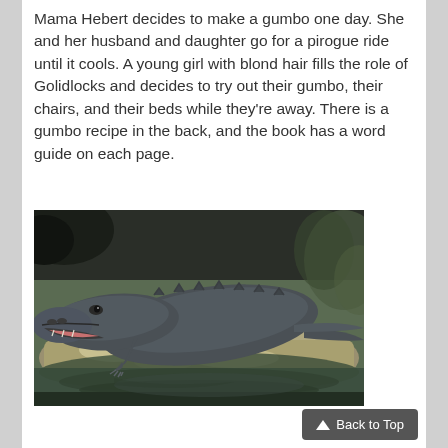Mama Hebert decides to make a gumbo one day. She and her husband and daughter go for a pirogue ride until it cools. A young girl with blond hair fills the role of Golidlocks and decides to try out their gumbo, their chairs, and their beds while they're away. There is a gumbo recipe in the back, and the book has a word guide on each page.
[Figure (photo): A photograph of an alligator resting on a rocky surface near water, mouth open, with its reflection visible in the water below.]